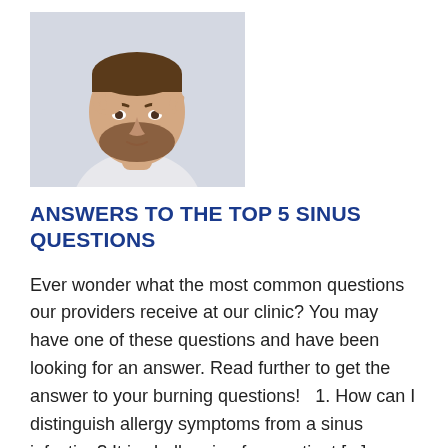[Figure (photo): A bearded man pressing his fingers against the bridge of his nose/sinus area, appearing to be in discomfort, with a blurred background.]
ANSWERS TO THE TOP 5 SINUS QUESTIONS
Ever wonder what the most common questions our providers receive at our clinic? You may have one of these questions and have been looking for an answer. Read further to get the answer to your burning questions!   1. How can I distinguish allergy symptoms from a sinus infection? It is challenging for a patient [...]